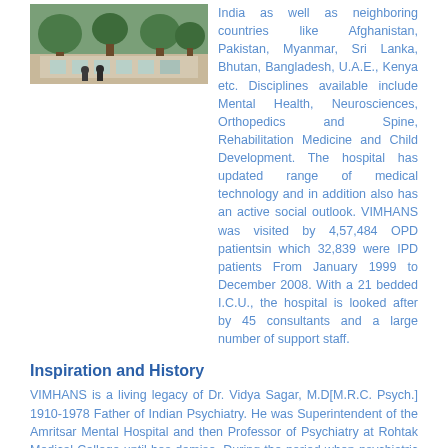[Figure (photo): Exterior photo of VIMHANS hospital building with greenery and trees]
India as well as neighboring countries like Afghanistan, Pakistan, Myanmar, Sri Lanka, Bhutan, Bangladesh, U.A.E., Kenya etc. Disciplines available include Mental Health, Neurosciences, Orthopedics and Spine, Rehabilitation Medicine and Child Development. The hospital has updated range of medical technology and in addition also has an active social outlook. VIMHANS was visited by 4,57,484 OPD patientsin which 32,839 were IPD patients From January 1999 to December 2008. With a 21 bedded I.C.U., the hospital is looked after by 45 consultants and a large number of support staff.
Inspiration and History
VIMHANS is a living legacy of Dr. Vidya Sagar, M.D[M.R.C. Psych.] 1910-1978 Father of Indian Psychiatry. He was Superintendent of the Amritsar Mental Hospital and then Professor of Psychiatry at Rohtak Medical College until has demise. During the period when psychiatric services were in relative infancy Dr. Vidya Sagar spent upto 18 hours a day with patients. Due to overflowing wards in the hospital, many a patient was accommodated at his residence with full support from his dedicated wife Mrs. Kaushalya Devi who also relieved him of all domestic responsibilities. Dr.Vidya Sagar was